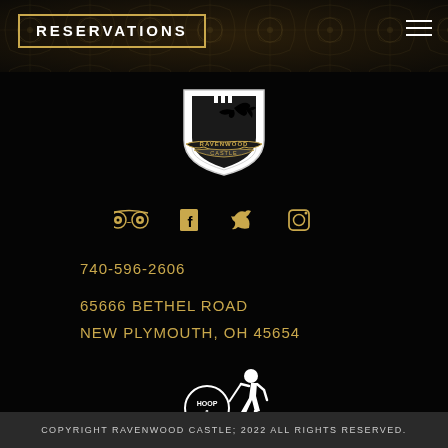RESERVATIONS
[Figure (logo): Ravenwood Castle shield logo with raven silhouette]
[Figure (infographic): Social media icons: TripAdvisor, Facebook, Twitter, Instagram in gold/white]
740-596-2606
65666 BETHEL ROAD
NEW PLYMOUTH, OH 45654
[Figure (logo): Hoop & Stick web design logo — white silhouette of child rolling a hoop]
COPYRIGHT RAVENWOOD CASTLE; 2022 ALL RIGHTS RESERVED.